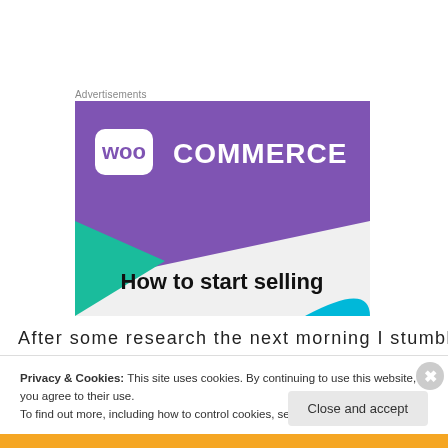Advertisements
[Figure (illustration): WooCommerce advertisement banner showing the WooCommerce logo on a purple background with teal and blue geometric shapes and text 'How to start selling']
After some research the next morning I stumbled across
Privacy & Cookies: This site uses cookies. By continuing to use this website, you agree to their use.
To find out more, including how to control cookies, see here: Cookie Policy